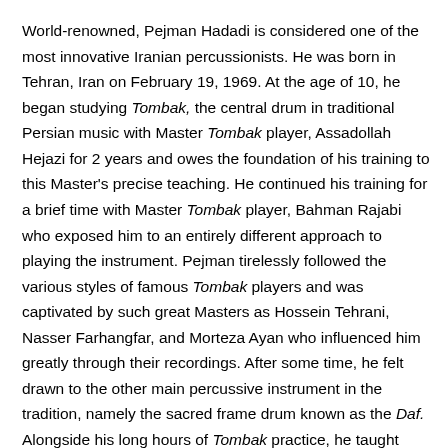World-renowned, Pejman Hadadi is considered one of the most innovative Iranian percussionists. He was born in Tehran, Iran on February 19, 1969. At the age of 10, he began studying Tombak, the central drum in traditional Persian music with Master Tombak player, Assadollah Hejazi for 2 years and owes the foundation of his training to this Master's precise teaching. He continued his training for a brief time with Master Tombak player, Bahman Rajabi who exposed him to an entirely different approach to playing the instrument. Pejman tirelessly followed the various styles of famous Tombak players and was captivated by such great Masters as Hossein Tehrani, Nasser Farhangfar, and Morteza Ayan who influenced him greatly through their recordings. After some time, he felt drawn to the other main percussive instrument in the tradition, namely the sacred frame drum known as the Daf. Alongside his long hours of Tombak practice, he taught himself how to play the Daf, finding great inspiration from the great Master Daf player, Bijan Kamkar